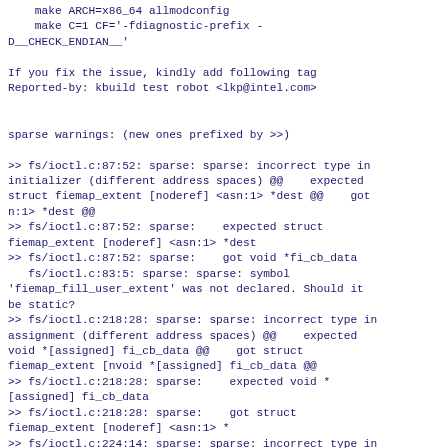make ARCH=x86_64 allmodconfig
    make C=1 CF='-fdiagnostic-prefix -D__CHECK_ENDIAN__'

If you fix the issue, kindly add following tag
Reported-by: kbuild test robot <lkp@intel.com>


sparse warnings: (new ones prefixed by >>)

>> fs/ioctl.c:87:52: sparse: sparse: incorrect type in initializer (different address spaces) @@    expected struct fiemap_extent [noderef] <asn:1> *dest @@    got n:1> *dest @@
>> fs/ioctl.c:87:52: sparse:    expected struct fiemap_extent [noderef] <asn:1> *dest
>> fs/ioctl.c:87:52: sparse:    got void *fi_cb_data
   fs/ioctl.c:83:5: sparse: sparse: symbol 'fiemap_fill_user_extent' was not declared. Should it be static?
>> fs/ioctl.c:218:28: sparse: sparse: incorrect type in assignment (different address spaces) @@    expected void *[assigned] fi_cb_data @@    got struct fiemap_extent [nvoid *[assigned] fi_cb_data @@
>> fs/ioctl.c:218:28: sparse:    expected void *[assigned] fi_cb_data
>> fs/ioctl.c:218:28: sparse:    got struct fiemap_extent [noderef] <asn:1> *
>> fs/ioctl.c:224:14: sparse: sparse: incorrect type in argument 1 (different address spaces) @@    expected